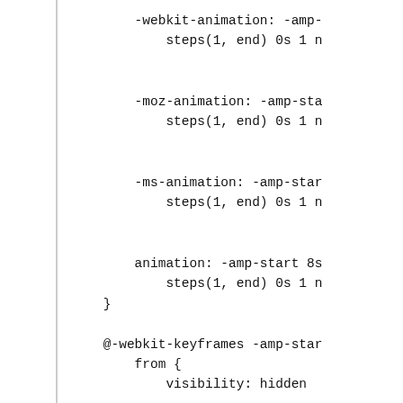-webkit-animation: -amp-
    steps(1, end) 0s 1 n

-moz-animation: -amp-sta
    steps(1, end) 0s 1 n

-ms-animation: -amp-star
    steps(1, end) 0s 1 n

animation: -amp-start 8s
    steps(1, end) 0s 1 n
}

@-webkit-keyframes -amp-star
    from {
        visibility: hidden